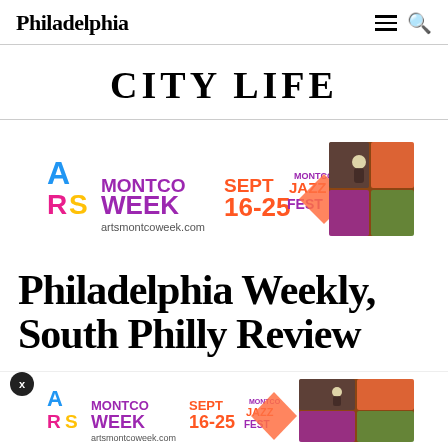Philadelphia
CITY LIFE
[Figure (infographic): Montco Arts Week Sept 16-25 artsmontcoweek.com Montco Jazz Fest advertisement banner with colorful logo and images]
Philadelphia Weekly, South Philly Review
[Figure (infographic): Montco Arts Week Sept 16-25 artsmontcoweek.com Montco Jazz Fest advertisement banner (bottom) with colorful logo and images]